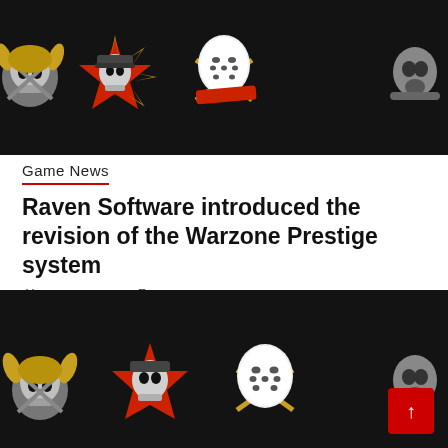[Figure (photo): Row of Call of Duty Warzone prestige skull emblems/badges on black background - top image]
Game News
Raven Software introduced the revision of the Warzone Prestige system
April 1, 2022  admin
[Figure (photo): Row of Call of Duty Warzone prestige skull emblems/badges on black background - bottom image, partially cut off, with red back-to-top button overlay]